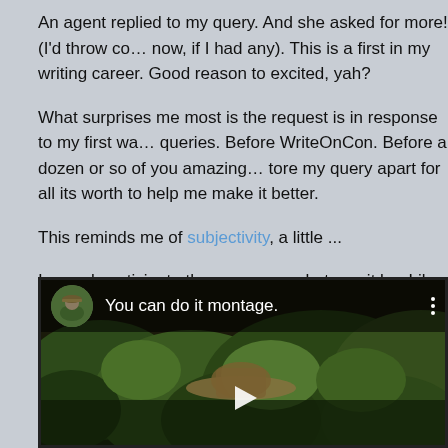An agent replied to my query. And she asked for more! (I'd throw confetti now, if I had any). This is a first in my writing career. Good reason to be excited, yah?
What surprises me most is the request is in response to my first wave of queries. Before WriteOnCon. Before a dozen or so of you amazing people tore my query apart for all its worth to help me make it better.
This reminds me of subjectivity, a little ...
I eagerly anticipate the response, whatever it be. Like my Viking ancestors, I have stubbornness issues. I'll see this writing through. It can be done! It will be done!
[Figure (screenshot): Embedded video thumbnail showing a person in military-style hat in a jungle setting, with title 'You can do it montage.' and a circular avatar in top-left corner. Play button visible at bottom center.]